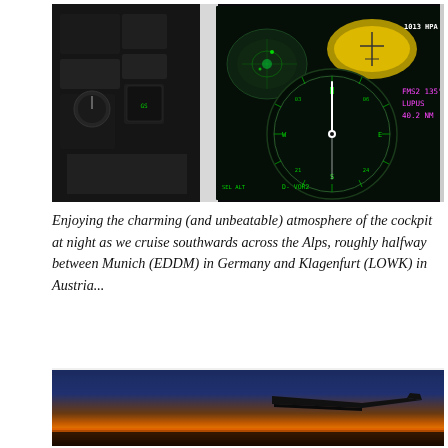[Figure (photo): Cockpit interior at night showing navigation displays and instrument panels with green and teal electronic screens displaying compass/heading indicator, flight management system data (FMS2 135, LUPUS, 40.2), and TA/RA advisory. Dark cockpit environment with illuminated avionics.]
Enjoying the charming (and unbeatable) atmosphere of the cockpit at night as we cruise southwards across the Alps, roughly halfway between Munich (EDDM) in Germany and Klagenfurt (LOWK) in Austria...
[Figure (photo): Sunset airway photo showing aircraft wing silhouette against a dramatic sunset sky with deep blue at top transitioning to orange and red near the horizon. Watermark text: 'Sunset Airway / © Bryan McCo / www.achtungskchawk.com, 2015'.]